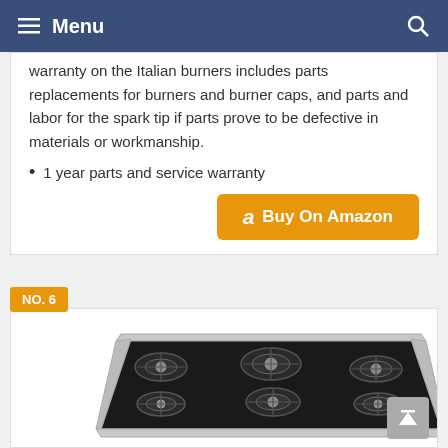Menu
warranty on the Italian burners includes parts replacements for burners and burner caps, and parts and labor for the spark tip if parts prove to be defective in materials or workmanship.
1 year parts and service warranty
Buy On Amazon
NO. 6
[Figure (photo): Gas cooktop with black surface and multiple burners, stainless steel frame, viewed from an angle]